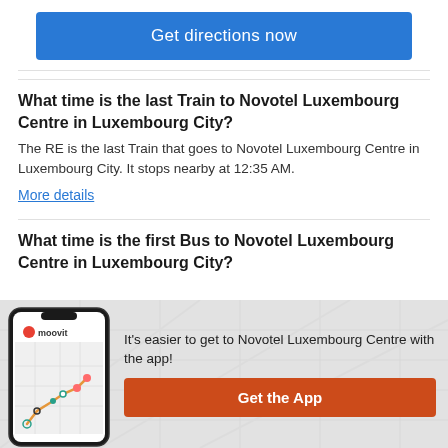Get directions now
What time is the last Train to Novotel Luxembourg Centre in Luxembourg City?
The RE is the last Train that goes to Novotel Luxembourg Centre in Luxembourg City. It stops nearby at 12:35 AM.
More details
What time is the first Bus to Novotel Luxembourg Centre in Luxembourg City?
[Figure (screenshot): Moovit app screenshot showing a map with route and stops]
It's easier to get to Novotel Luxembourg Centre with the app!
Get the App